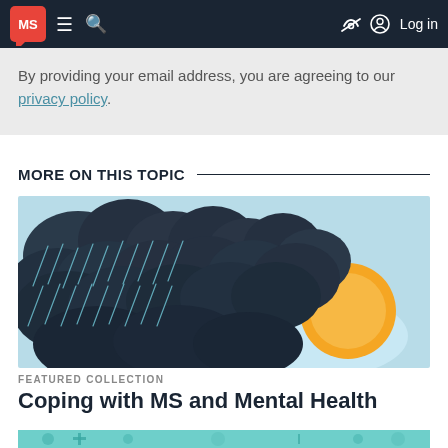MS [logo] | menu | search | [eye-off icon] | Log in
By providing your email address, you are agreeing to our privacy policy.
MORE ON THIS TOPIC
[Figure (illustration): Illustration of dark storm clouds with rain and an orange sun peeking through on a light blue sky background]
FEATURED COLLECTION
Coping with MS and Mental Health
[Figure (illustration): Illustration of medical devices and equipment on a teal/mint background (partial, bottom of page)]